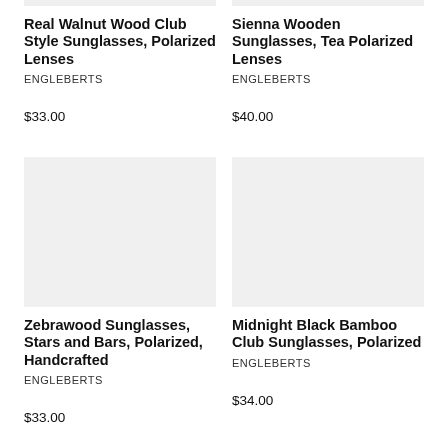[Figure (photo): Product image placeholder for Real Walnut Wood Club Style Sunglasses (top, partially visible)]
Real Walnut Wood Club Style Sunglasses, Polarized Lenses
ENGLEBERTS
$33.00
[Figure (photo): Product image placeholder for Sienna Wooden Sunglasses, Tea Polarized Lenses (top, partially visible)]
Sienna Wooden Sunglasses, Tea Polarized Lenses
ENGLEBERTS
$40.00
[Figure (photo): Product image placeholder for Zebrawood Sunglasses]
Zebrawood Sunglasses, Stars and Bars, Polarized, Handcrafted
ENGLEBERTS
$33.00
[Figure (photo): Product image placeholder for Midnight Black Bamboo Club Sunglasses]
Midnight Black Bamboo Club Sunglasses, Polarized
ENGLEBERTS
$34.00